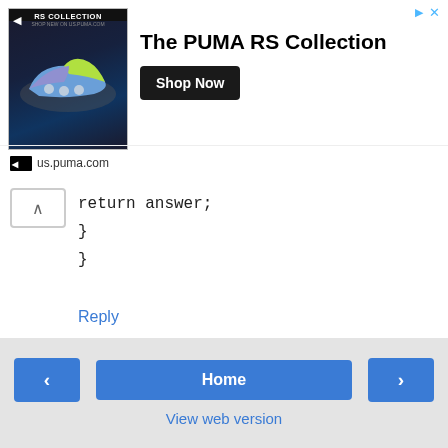[Figure (screenshot): PUMA RS Collection advertisement banner with shoe image, 'The PUMA RS Collection' text, 'Shop Now' button, and 'us.puma.com' URL]
return answer;
}
}
Reply
[Figure (screenshot): Comment input field with avatar icon and 'Enter Comment' placeholder text]
Feel free to comment, ask questions if you have any doubt.
< Home > View web version